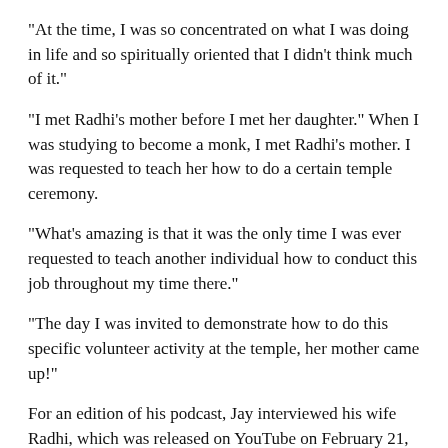“At the time, I was so concentrated on what I was doing in life and so spiritually oriented that I didn’t think much of it.”
“I met Radhi’s mother before I met her daughter.” When I was studying to become a monk, I met Radhi’s mother. I was requested to teach her how to do a certain temple ceremony.
“What’s amazing is that it was the only time I was ever requested to teach another individual how to conduct this job throughout my time there.”
“The day I was invited to demonstrate how to do this specific volunteer activity at the temple, her mother came up!”
For an edition of his podcast, Jay interviewed his wife Radhi, which was released on YouTube on February 21, 2019.
Jay devoted a message to his wife on Instagram on her 29th birthday, posting a picture of her with the caption: “Even though I tell you this every day and really mean it, today is a wonderful